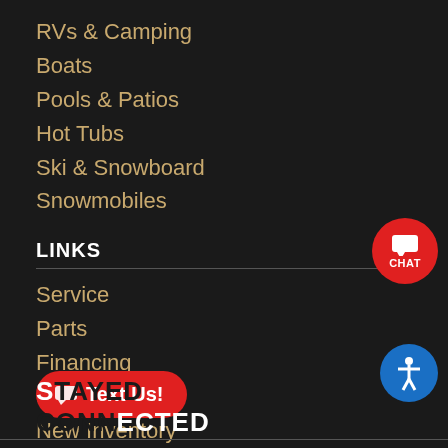RVs & Camping
Boats
Pools & Patios
Hot Tubs
Ski & Snowboard
Snowmobiles
LINKS
Service
Parts
Financing
Specials
New Inventory
Used Inventory
[Figure (infographic): Red circular chat button with speech bubble icon and CHAT label]
[Figure (infographic): Red rounded rectangle Text Us button with speech bubble icon]
[Figure (infographic): Blue circular accessibility button with person icon]
S____ECTED